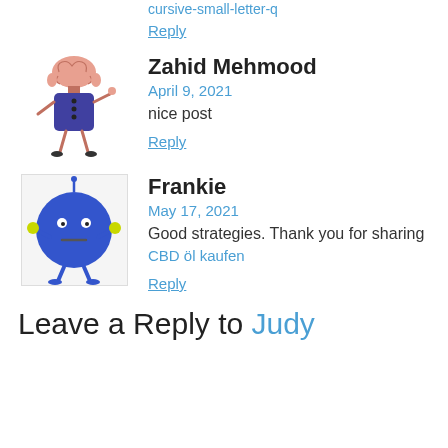cursive-small-letter-q
Reply
Zahid Mehmood
April 9, 2021
nice post
Reply
[Figure (illustration): Cartoon character: round blue creature with eyes and small arms/legs standing on light grey background]
Frankie
May 17, 2021
Good strategies. Thank you for sharing
CBD öl kaufen
Reply
Leave a Reply to Judy